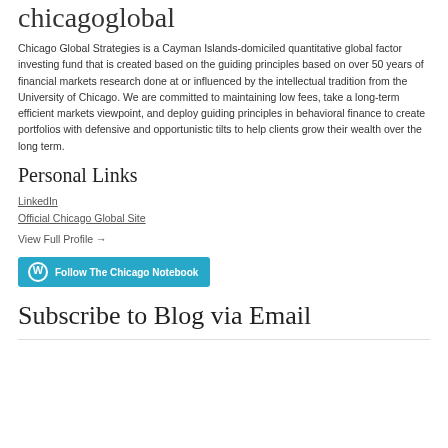chicagoglobal
Chicago Global Strategies is a Cayman Islands-domiciled quantitative global factor investing fund that is created based on the guiding principles based on over 50 years of financial markets research done at or influenced by the intellectual tradition from the University of Chicago. We are committed to maintaining low fees, take a long-term efficient markets viewpoint, and deploy guiding principles in behavioral finance to create portfolios with defensive and opportunistic tilts to help clients grow their wealth over the long term.
Personal Links
LinkedIn
Official Chicago Global Site
View Full Profile →
Follow The Chicago Notebook
Subscribe to Blog via Email